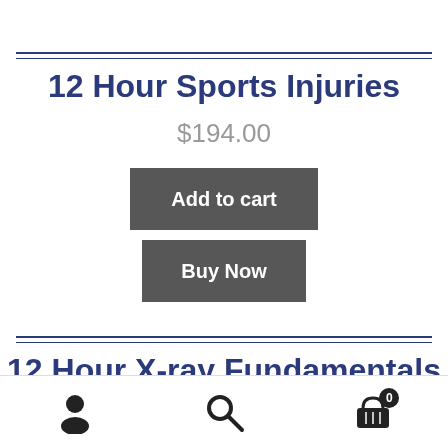12 Hour Sports Injuries
$194.00
Add to cart
Buy Now
12 Hour X-ray Fundamentals